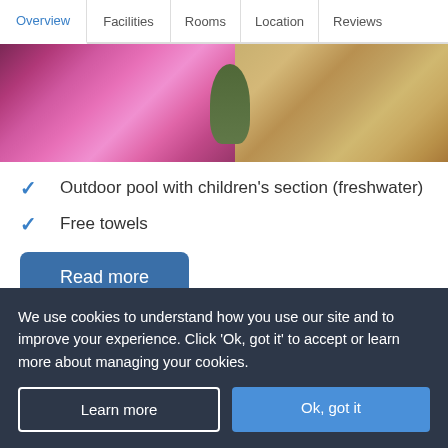Overview | Facilities | Rooms | Location | Reviews
[Figure (photo): Hotel outdoor area with pink/magenta flowering plants on the left and a paved stone pathway on the right with a tree visible.]
Outdoor pool with children's section (freshwater)
Free towels
Read more
Please note facilities may vary by pool.
We use cookies to understand how you use our site and to improve your experience. Click 'Ok, got it' to accept or learn more about managing your cookies.
Learn more
Ok, got it